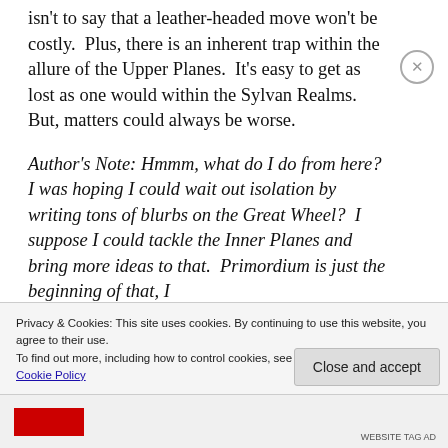isn't to say that a leather-headed move won't be costly.  Plus, there is an inherent trap within the allure of the Upper Planes.  It's easy to get as lost as one would within the Sylvan Realms.  But, matters could always be worse.
Author's Note: Hmmm, what do I do from here?  I was hoping I could wait out isolation by writing tons of blurbs on the Great Wheel?  I suppose I could tackle the Inner Planes and bring more ideas to that.  Primordium is just the beginning of that, I
Privacy & Cookies: This site uses cookies. By continuing to use this website, you agree to their use.
To find out more, including how to control cookies, see here:
Cookie Policy
Close and accept